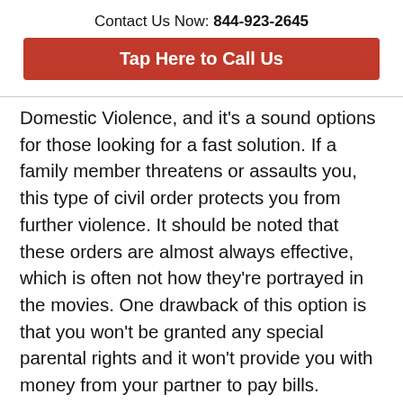Contact Us Now: 844-923-2645
[Figure (other): Red button with white bold text: Tap Here to Call Us]
Domestic Violence, and it's a sound options for those looking for a fast solution. If a family member threatens or assaults you, this type of civil order protects you from further violence. It should be noted that these orders are almost always effective, which is often not how they're portrayed in the movies. One drawback of this option is that you won't be granted any special parental rights and it won't provide you with money from your partner to pay bills. However, there is another option that addresses these needs.